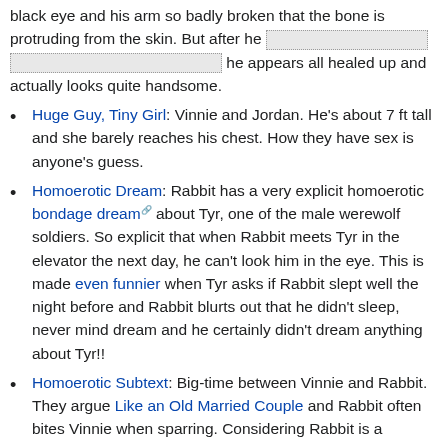black eye and his arm so badly broken that the bone is protruding from the skin. But after he [redacted] [redacted] he appears all healed up and actually looks quite handsome.
Huge Guy, Tiny Girl: Vinnie and Jordan. He's about 7 ft tall and she barely reaches his chest. How they have sex is anyone's guess.
Homoerotic Dream: Rabbit has a very explicit homoerotic bondage dream about Tyr, one of the male werewolf soldiers. So explicit that when Rabbit meets Tyr in the elevator the next day, he can't look him in the eye. This is made even funnier when Tyr asks if Rabbit slept well the night before and Rabbit blurts out that he didn't sleep, never mind dream and he certainly didn't dream anything about Tyr!!
Homoerotic Subtext: Big-time between Vinnie and Rabbit. They argue Like an Old Married Couple and Rabbit often bites Vinnie when sparring. Considering Rabbit is a...